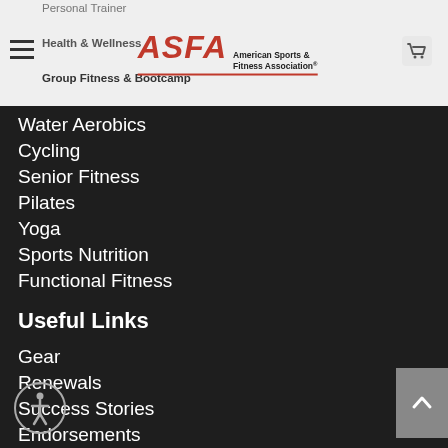ASFA American Sports & Fitness Association
Personal Trainer
Health & Wellness
Group Fitness & Bootcamp
Water Aerobics
Cycling
Senior Fitness
Pilates
Yoga
Sports Nutrition
Functional Fitness
Useful Links
Gear
Renewals
Success Stories
Endorsements
Partners
Insurance
Download Area
Newsletter